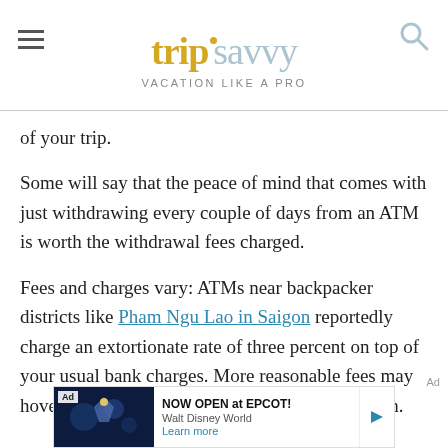trip savvy — VACATION LIKE A PRO
of your trip.
Some will say that the peace of mind that comes with just withdrawing every couple of days from an ATM is worth the withdrawal fees charged.
Fees and charges vary: ATMs near backpacker districts like Pham Ngu Lao in Saigon reportedly charge an extortionate rate of three percent on top of your usual bank charges. More reasonable fees may hover down to about 1-1.5 percent per transaction.
[Figure (screenshot): Advertisement banner for Walt Disney World EPCOT: 'NOW OPEN at EPCOT! Walt Disney World Learn more']